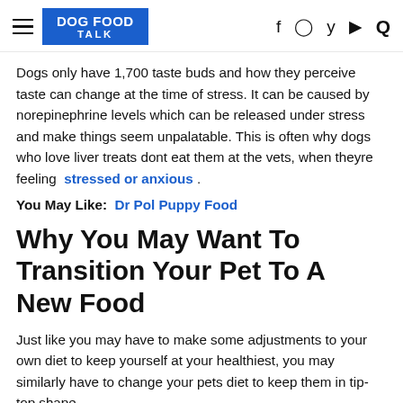DOG FOOD TALK
Dogs only have 1,700 taste buds and how they perceive taste can change at the time of stress. It can be caused by norepinephrine levels which can be released under stress and make things seem unpalatable. This is often why dogs who love liver treats dont eat them at the vets, when theyre feeling stressed or anxious .
You May Like: Dr Pol Puppy Food
Why You May Want To Transition Your Pet To A New Food
Just like you may have to make some adjustments to your own diet to keep yourself at your healthiest, you may similarly have to change your pets diet to keep them in tip-top shape.